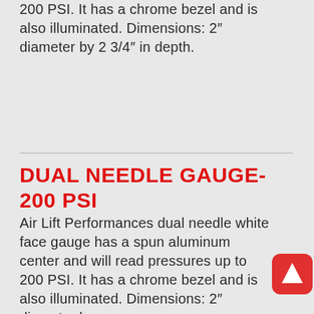200 PSI. It has a chrome bezel and is also illuminated. Dimensions: 2″ diameter by 2 3/4″ in depth.
DUAL NEEDLE GAUGE- 200 PSI
Air Lift Performances dual needle white face gauge has a spun aluminum center and will read pressures up to 200 PSI. It has a chrome bezel and is also illuminated. Dimensions: 2″ diameter by